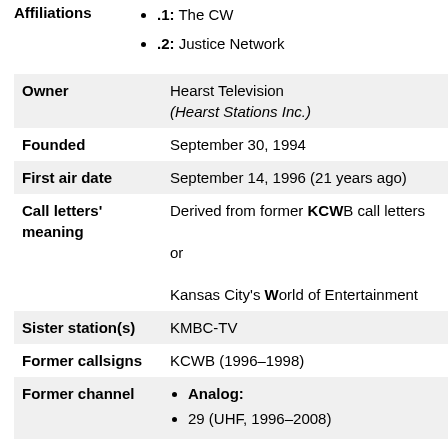| Affiliations | .1: The CW | .2: Justice Network |
| Owner | Hearst Television (Hearst Stations Inc.) |
| Founded | September 30, 1994 |
| First air date | September 14, 1996 (21 years ago) |
| Call letters' meaning | Derived from former KCWB call letters or Kansas City's World of Entertainment |
| Sister station(s) | KMBC-TV |
| Former callsigns | KCWB (1996–1998) |
| Former channel | Analog: | 29 (UHF, 1996–2008) |